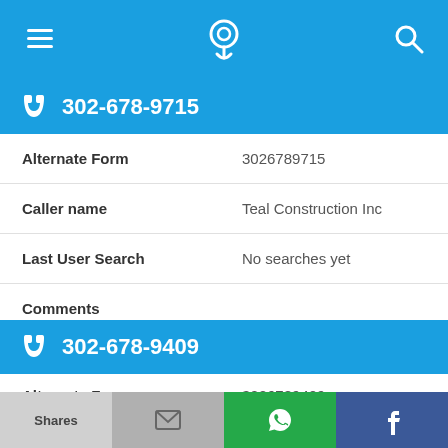[Figure (screenshot): Mobile app top navigation bar with hamburger menu icon, phone/location pin icon, and search icon on blue background]
302-678-9715
| Alternate Form | 3026789715 |
| Caller name | Teal Construction Inc |
| Last User Search | No searches yet |
| Comments |  |
302-678-9409
| Alternate Form | 3026789409 |
Shares  [email icon]  [WhatsApp icon]  [Facebook icon]